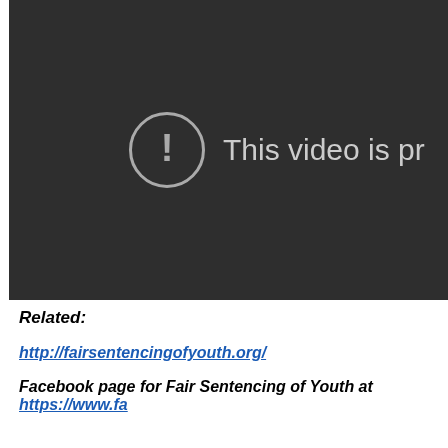[Figure (screenshot): Dark video player showing an error state with a circular exclamation mark icon and text 'This video is pr' (truncated), indicating the video is private or unavailable.]
Related:
http://fairsentencingofyouth.org/
Facebook page for Fair Sentencing of Youth at https://www.fa